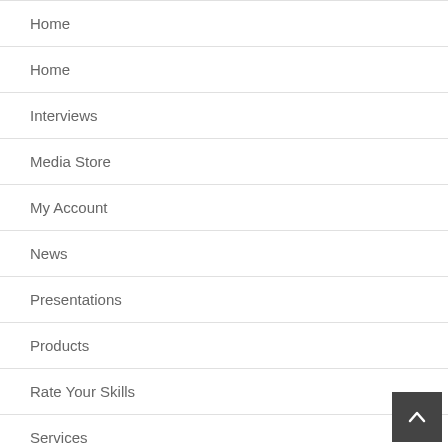Home
Home
Interviews
Media Store
My Account
News
Presentations
Products
Rate Your Skills
Services
Blog